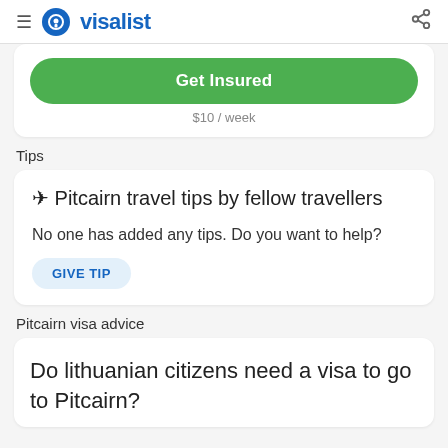visalist
Get Insured
$10 / week
Tips
✈ Pitcairn travel tips by fellow travellers
No one has added any tips. Do you want to help?
GIVE TIP
Pitcairn visa advice
Do lithuanian citizens need a visa to go to Pitcairn?